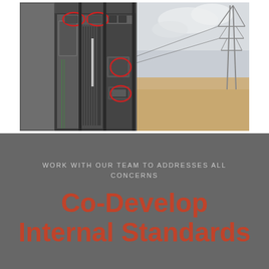[Figure (photo): Photo of an open electrical panel/switchgear cabinet with internal components visible. Red circles highlight three components: two at the top of the panel and one in the middle-right area and one lower-right area. Background shows outdoor desert landscape with power transmission tower.]
WORK WITH OUR TEAM TO ADDRESSES ALL CONCERNS
Co-Develop Internal Standards